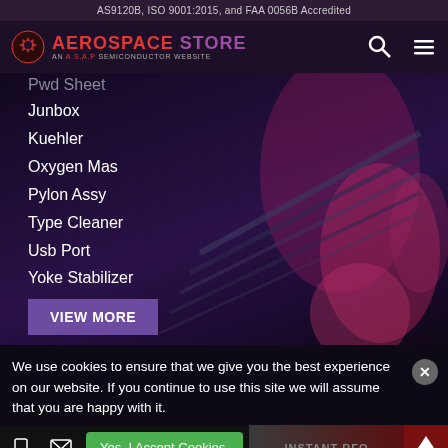AS9120B, ISO 9001:2015, and FAA 0056B Accredited
[Figure (logo): Aerospace Store logo - gear icon with red and purple text, AN A.S.A.P SEMICONDUCTOR WEBSITE subtitle]
Pwd Sheet
Junbox
Kuehler
Oxygen Mas
Pylon Assy
Type Cleaner
Usb Port
Yoke Stabilizer
VIEW MORE
We use cookies to ensure that we give you the best experience on our website. If you continue to use this site we will assume that you are happy with it.
Yes, I Accept Cookies.
INSTANT RFQ  Top